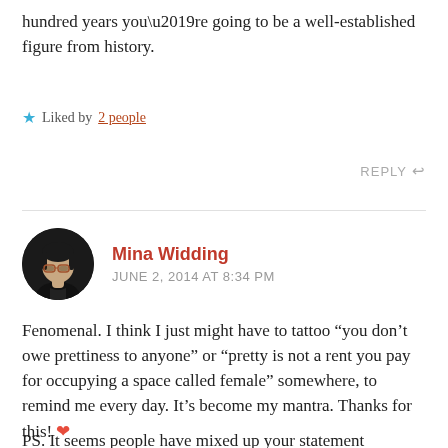hundred years you’re going to be a well-established figure from history.
★ Liked by 2 people
REPLY
Mina Widding says: JUNE 2, 2014 AT 8:34 PM
Fenomenal. I think I just might have to tattoo “you don’t owe prettiness to anyone” or “pretty is not a rent you pay for occupying a space called female” somewhere, to remind me every day. It’s become my mantra. Thanks for this! ❤
PS. It seems people have mixed up your statement